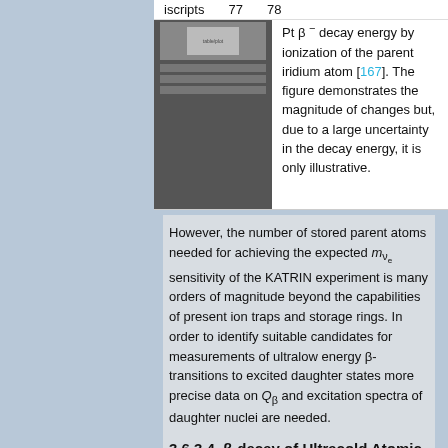iscripts   77   78
[Figure (other): Thumbnail of a figure showing table/plot related to Pt beta-minus decay energy]
Pt β⁻ decay energy by ionization of the parent iridium atom [167]. The figure demonstrates the magnitude of changes but, due to a large uncertainty in the decay energy, it is only illustrative.
However, the number of stored parent atoms needed for achieving the expected m_νe sensitivity of the KATRIN experiment is many orders of magnitude beyond the capabilities of present ion traps and storage rings. In order to identify suitable candidates for measurements of ultralow energy β-transitions to excited daughter states more precise data on Q_β and excitation spectra of daughter nuclei are needed.
3.6.3.4. β-decay of Ultracold Atomic Tritium